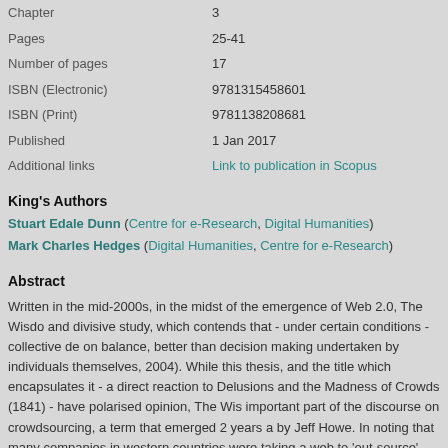| Chapter | 3 |
| Pages | 25-41 |
| Number of pages | 17 |
| ISBN (Electronic) | 9781315458601 |
| ISBN (Print) | 9781138208681 |
| Published | 1 Jan 2017 |
| Additional links | Link to publication in Scopus |
King's Authors
Stuart Edale Dunn (Centre for e-Research, Digital Humanities)
Mark Charles Hedges (Digital Humanities, Centre for e-Research)
Abstract
Written in the mid-2000s, in the midst of the emergence of Web 2.0, The Wisdom of Crowds is a compelling and divisive study, which contends that - under certain conditions - collective decision making is, on balance, better than decision making undertaken by individuals themselves, however expert (Surowiecki, 2004). While this thesis, and the title which encapsulates it - a direct reaction to Mackay's Extraordinary Delusions and the Madness of Crowds (1841) - have polarised opinion, The Wisdom of Crowds has become an important part of the discourse on crowdsourcing, a term that emerged 2 years after the book's publication, coined by Jeff Howe. In noting that many companies in western countries were taking advantage of the emergence of the web to 'out-source' production tasks to cheaper labour markets overseas, Howe observed that new models had grown up in the Internet age and were designed to take advantage of the networked world: 'It doesn't matter where they are - they might be down the block, they might be in Indonesia - as long as they can do the job. Thanks to advances in everything from product design software to digital video cameras and even the Internet itself, the tools that once separated amateurs from professionals.... The labor isn't always free, but it costs a lot less than paying traditional employees. It's not outsourcing; it's crowdsourcing.